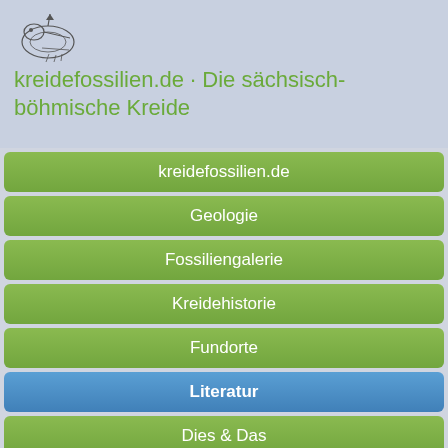[Figure (logo): Small sketch/illustration of a fossil or rock formation, black and white line drawing]
kreidefossilien.de · Die sächsisch-böhmische Kreide
kreidefossilien.de
Geologie
Fossiliengalerie
Kreidehistorie
Fundorte
Literatur
Dies & Das
WebGIS
Links